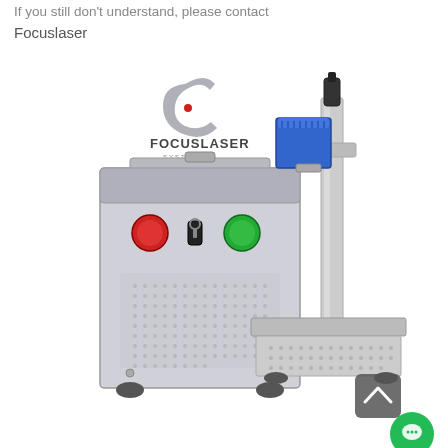If you still don't understand, please contact Focuslaser
[Figure (photo): Focuslaser Systems product photo showing a laser marking machine with a control unit box (grey metal with red and green buttons) on the left, and a laser head mounted on a vertical stand with a perforated metal base plate on the right. The Focuslaser Systems logo is visible in the upper-left area of the image. A dark scroll-to-top button and a green chat button are overlaid in the lower-right corner.]